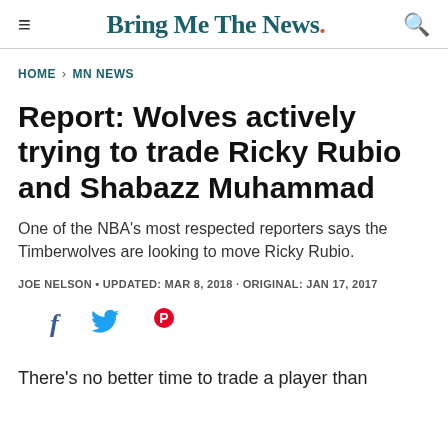Bring Me The News.
HOME > MN NEWS
Report: Wolves actively trying to trade Ricky Rubio and Shabazz Muhammad
One of the NBA's most respected reporters says the Timberwolves are looking to move Ricky Rubio.
JOE NELSON • UPDATED: MAR 8, 2018 · ORIGINAL: JAN 17, 2017
[Figure (other): Social share icons: Facebook (f), Twitter (bird), Pinterest (P)]
There's no better time to trade a player than